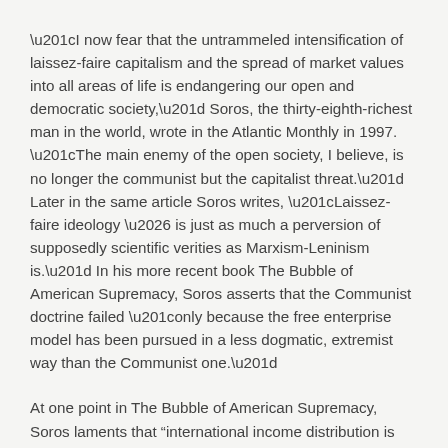“I now fear that the untrammeled intensification of laissez-faire capitalism and the spread of market values into all areas of life is endangering our open and democratic society,” Soros, the thirty-eighth-richest man in the world, wrote in the Atlantic Monthly in 1997. “The main enemy of the open society, I believe, is no longer the communist but the capitalist threat.” Later in the same article Soros writes, “Laissez-faire ideology … is just as much a perversion of supposedly scientific verities as Marxism-Leninism is.” In his more recent book The Bubble of American Supremacy, Soros asserts that the Communist doctrine failed “only because the free enterprise model has been pursued in a less dogmatic, extremist way than the Communist one.”
At one point in The Bubble of American Supremacy, Soros laments that “international income distribution is